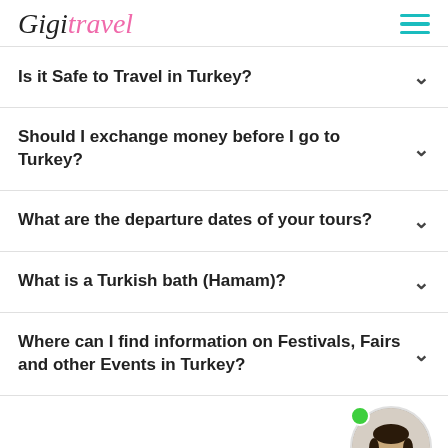GigiTravel
Is it Safe to Travel in Turkey?
Should I exchange money before I go to Turkey?
What are the departure dates of your tours?
What is a Turkish bath (Hamam)?
Where can I find information on Festivals, Fairs and other Events in Turkey?
[Figure (photo): Circular avatar photo of a smiling bearded man with a green online status dot in the top-left of the circle, positioned in the bottom-right corner.]